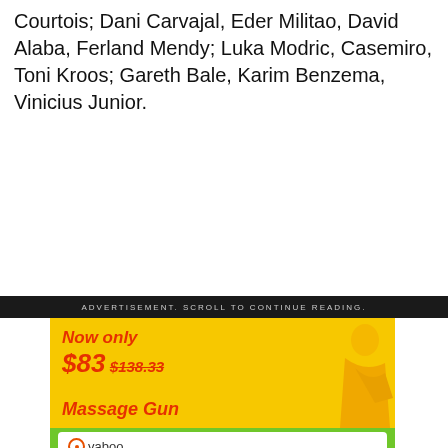Courtois; Dani Carvajal, Eder Militao, David Alaba, Ferland Mendy; Luka Modric, Casemiro, Toni Kroos; Gareth Bale, Karim Benzema, Vinicius Junior.
[Figure (photo): Advertisement banner showing a Vaboo massage gun product. Yellow top section with red italic text 'Now only $83 $138.33' and 'Massage Gun'. Bottom green section with white box containing product images of massage gun, attachments, carrying case, and digital display. Brand logo 'vaboo' in top left of product image area.]